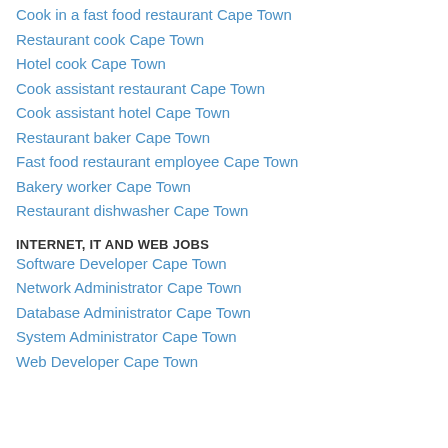Cook in a fast food restaurant Cape Town
Restaurant cook Cape Town
Hotel cook Cape Town
Cook assistant restaurant Cape Town
Cook assistant hotel Cape Town
Restaurant baker Cape Town
Fast food restaurant employee Cape Town
Bakery worker Cape Town
Restaurant dishwasher Cape Town
INTERNET, IT AND WEB JOBS
Software Developer Cape Town
Network Administrator Cape Town
Database Administrator Cape Town
System Administrator Cape Town
Web Developer Cape Town